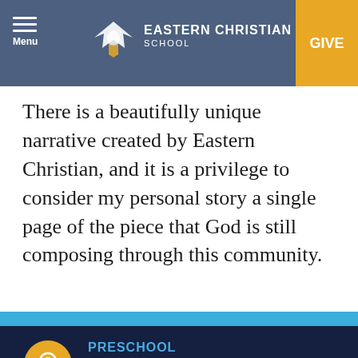Menu | EASTERN CHRISTIAN SCHOOL | GIVE
There is a beautifully unique narrative created by Eastern Christian, and it is a privilege to consider my personal story a single page of the piece that God is still composing through this community.
Our Locations
PRESCHOOL
25 Baldin Drive
Midland Park, NJ 07432
Ph:201.445.6150